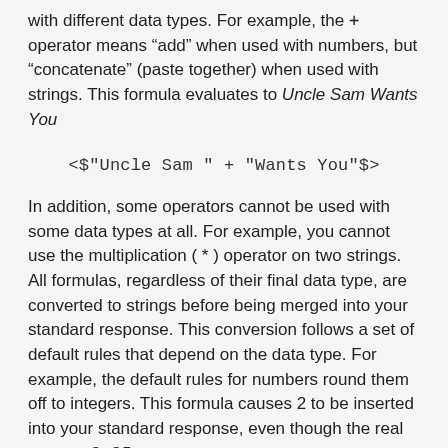with different data types. For example, the + operator means "add" when used with numbers, but "concatenate" (paste together) when used with strings. This formula evaluates to Uncle Sam Wants You
In addition, some operators cannot be used with some data types at all. For example, you cannot use the multiplication ( * ) operator on two strings.
All formulas, regardless of their final data type, are converted to strings before being merged into your standard response. This conversion follows a set of default rules that depend on the data type. For example, the default rules for numbers round them off to integers. This formula causes 2 to be inserted into your standard response, even though the real result is 2.25:
You can use the Text function (see below) or format